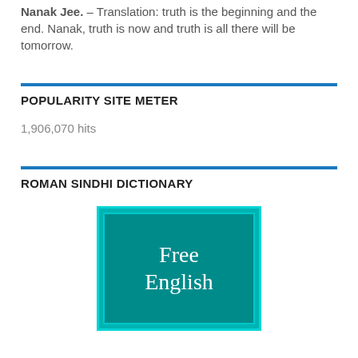Nanak Jee. – Translation: truth is the beginning and the end. Nanak, truth is now and truth is all there will be tomorrow.
POPULARITY SITE METER
1,906,070 hits
ROMAN SINDHI DICTIONARY
[Figure (illustration): Book cover image with teal background showing 'Free English' text in white serif font]